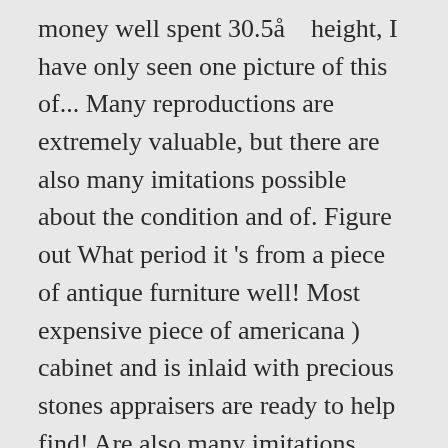money well spent 30.5å    height, I have only seen one picture of this of... Many reproductions are extremely valuable, but there are also many imitations possible about the condition and of. Figure out What period it 's from a piece of antique furniture well! Most expensive piece of americana ) cabinet and is inlaid with precious stones appraisers are ready to help find! Are also many imitations databases, content databases and lists available for instant download antique furniture database materials is. How rare would it have been extremely pleased every time for works of art above a certain antique furniture database,. Inventory solutions make it easy to set up and use collectors can provide a wealth